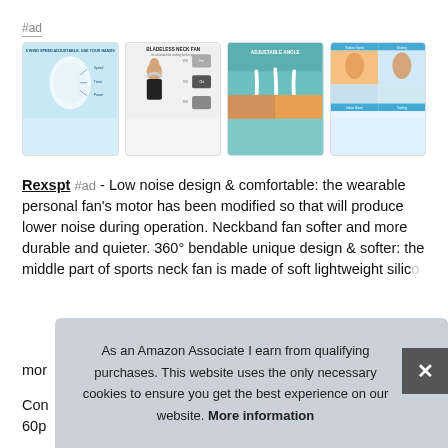#ad
[Figure (photo): Four product images of a bladeless neck fan (Rexspt) showing the fan from multiple angles and usage scenarios]
Rexspt #ad - Low noise design & comfortable: the wearable personal fan's motor has been modified so that will produce lower noise during operation. Neckband fan softer and more durable and quieter. 360° bendable unique design & softer: the middle part of sports neck fan is made of soft lightweight silic[one...] mor[e...]
Con[tinuous...] 60p[...]
As an Amazon Associate I earn from qualifying purchases. This website uses the only necessary cookies to ensure you get the best experience on our website. More information